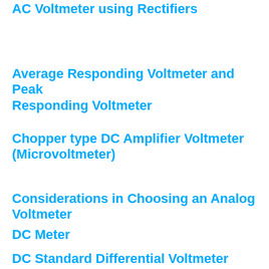AC Voltmeter using Rectifiers
Average Responding Voltmeter and Peak Responding Voltmeter
Chopper type DC Amplifier Voltmeter (Microvoltmeter)
Considerations in Choosing an Analog Voltmeter
DC Meter
DC Standard Differential Voltmeter